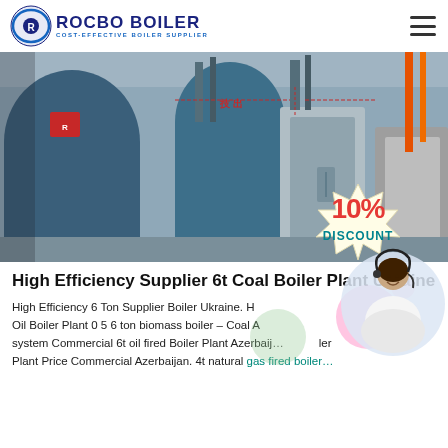ROCBO BOILER | COST-EFFECTIVE BOILER SUPPLIER
[Figure (photo): Industrial boiler plant interior showing large blue and silver/stainless steel boiler units with pipes and ducts, with a 10% DISCOUNT badge overlay in the bottom right]
High Efficiency Supplier 6t Coal Boiler Plant Ukraine
High Efficiency 6 Ton Supplier Boiler Ukraine. H... Oil Boiler Plant 0 5 6 ton biomass boiler – Coal A... system Commercial 6t oil fired Boiler Plant Azerbaijan... iler Plant Price Commercial Azerbaijan. 4t natural gas fired boiler...